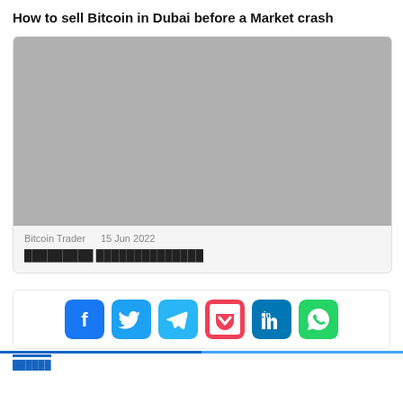How to sell Bitcoin in Dubai before a Market crash
[Figure (photo): Gray placeholder image for article about selling Bitcoin in Dubai before a market crash]
Bitcoin Trader    15 Jun 2022
░░░░░░░░░ ░░░░░░░░░░░░░░
[Figure (infographic): Social media share icons: Facebook, Twitter, Telegram, Pocket, LinkedIn, WhatsApp]